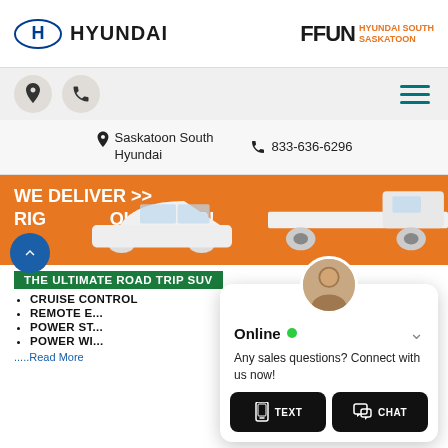[Figure (logo): Hyundai logo (oval H emblem) and FFUN Hyundai South Saskatoon logo]
[Figure (screenshot): Navigation icon bar with location pin, phone icons on the left and hamburger menu on the right]
Saskatoon South Hyundai   833-636-6296
[Figure (infographic): Orange banner reading WE DELIVER >> RIGHT TO YOUR DOOR! with images of a white sedan and a flatbed truck]
THE ULTIMATE ROAD TRIP SUV
CRUISE CONTROL
REMOTE E...
POWER ST...
POWER WI...
.....Read More
[Figure (screenshot): Live chat popup with agent avatar, Online green dot, message Any sales questions? Connect with us now!, and TEXT and CHAT buttons]